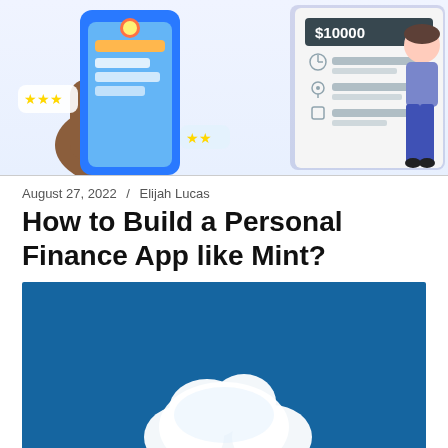[Figure (illustration): Illustration of a hand holding a smartphone with a colorful app interface, star rating bubbles, and a financial form showing $10000 with location and checkbox fields, plus a person in blue pants standing to the right.]
August 27, 2022 / Elijah Lucas
How to Build a Personal Finance App like Mint?
[Figure (illustration): Dark teal/blue background with a white cloud illustration in the center, partially cropped at the bottom.]